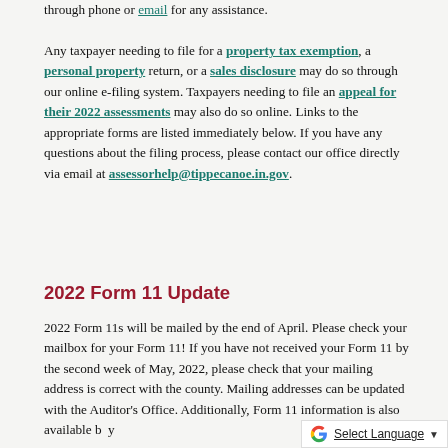through phone or email for any assistance.

Any taxpayer needing to file for a property tax exemption, a personal property return, or a sales disclosure may do so through our online e-filing system. Taxpayers needing to file an appeal for their 2022 assessments may also do so online. Links to the appropriate forms are listed immediately below. If you have any questions about the filing process, please contact our office directly via email at assessorhelp@tippecanoe.in.gov.
2022 Form 11 Update
2022 Form 11s will be mailed by the end of April. Please check your mailbox for your Form 11! If you have not received your Form 11 by the second week of May, 2022, please check that your mailing address is correct with the county. Mailing addresses can be updated with the Auditor's Office. Additionally, Form 11 information is also available by